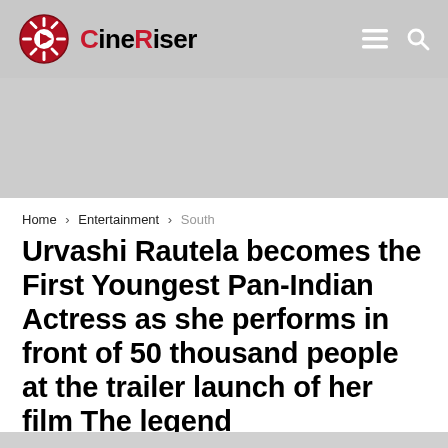CineRiser
Home > Entertainment > South
Urvashi Rautela becomes the First Youngest Pan-Indian Actress as she performs in front of 50 thousand people at the trailer launch of her film The legend
June 1, 2022  Reading Time: 8min read